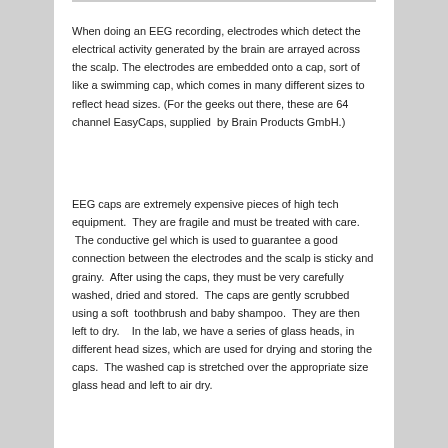When doing an EEG recording, electrodes which detect the electrical activity generated by the brain are arrayed across the scalp. The electrodes are embedded onto a cap, sort of like a swimming cap, which comes in many different sizes to reflect head sizes. (For the geeks out there, these are 64 channel EasyCaps, supplied  by Brain Products GmbH.)
EEG caps are extremely expensive pieces of high tech equipment.  They are fragile and must be treated with care.  The conductive gel which is used to guarantee a good connection between the electrodes and the scalp is sticky and grainy.  After using the caps, they must be very carefully washed, dried and stored.  The caps are gently scrubbed using a soft  toothbrush and baby shampoo.  They are then left to dry.   In the lab, we have a series of glass heads, in different head sizes, which are used for drying and storing the caps.  The washed cap is stretched over the appropriate size glass head and left to air dry.